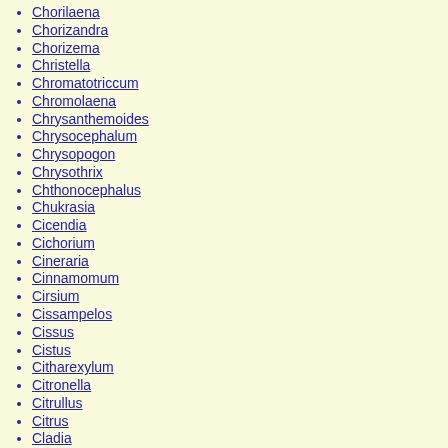Chorilaena
Chorizandra
Chorizema
Christella
Chromatotriccum
Chromolaena
Chrysanthemoides
Chrysocephalum
Chrysopogon
Chrysothrix
Chthonocephalus
Chukrasia
Cicendia
Cichorium
Cineraria
Cinnamomum
Cirsium
Cissampelos
Cissus
Cistus
Citharexylum
Citronella
Citrullus
Citrus
Cladia
Cladium
Cladonia
Claoxylon
Clathrus
Clausena